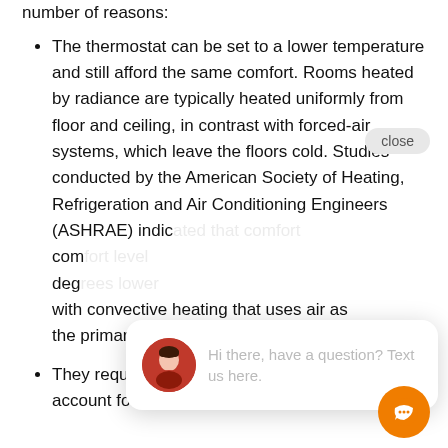number of reasons:
The thermostat can be set to a lower temperature and still afford the same comfort. Rooms heated by radiance are typically heated uniformly from floor and ceiling, in contrast with forced-air systems, which leave the floors cold. Studies conducted by the American Society of Heating, Refrigeration and Air Conditioning Engineers (ASHRAE) indicated [text partially obscured by chat widget] comfort [obscured] degrees [obscured] with convective heating that uses air as the primary heat-transfer medium.
They require no ducts or pipes, which account for heat losses in other systems